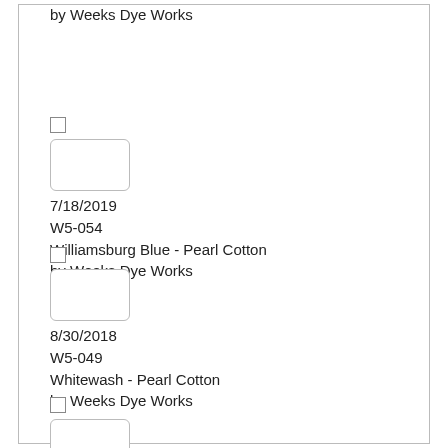by Weeks Dye Works
7/18/2019
W5-054
Williamsburg Blue - Pearl Cotton
by Weeks Dye Works
8/30/2018
W5-049
Whitewash - Pearl Cotton
by Weeks Dye Works